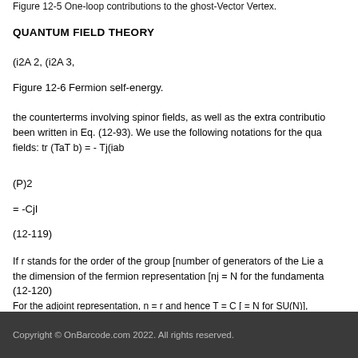Figure 12-5 One-loop contributions to the ghost-Vector Vertex.
QUANTUM FIELD THEORY
(i2A 2, (i2A 3,
Figure 12-6 Fermion self-energy.
the counterterms involving spinor fields, as well as the extra contributions been written in Eq. (12-93). We use the following notations for the quad fields: tr (TaT b) = - Tj(iab
If r stands for the order of the group [number of generators of the Lie a the dimension of the fermion representation [nj = N for the fundamenta
For the adjoint representation, n = r and hence T = C [ = N for SU(N)], fundamental representation of SU(N). The counterterms generated by
Copyright © OnBarcode.com 2022. All rights reserved.